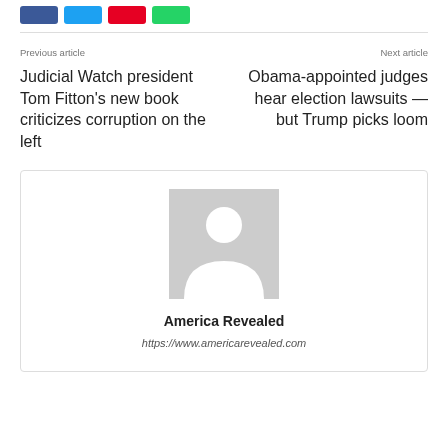[Figure (other): Social share buttons: Facebook (blue), Twitter (light blue), Pinterest (red), WhatsApp (green)]
Previous article
Next article
Judicial Watch president Tom Fitton's new book criticizes corruption on the left
Obama-appointed judges hear election lawsuits — but Trump picks loom
[Figure (photo): Generic placeholder avatar: grey background with white silhouette of a person]
America Revealed
https://www.americarevealed.com